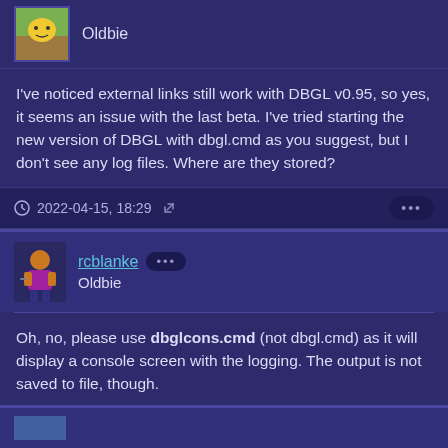Oldbie
I've noticed external links still work with DBGL v0.95, so yes, it seems an issue with the last beta. I've tried starting the new version of DBGL with dbgl.cmd as you suggest, but I don't see any log files. Where are they stored?
2022-04-15, 18:29
rcblanke Oldbie
Oh, no, please use dbglcons.cmd (not dbgl.cmd) as it will display a console screen with the logging. The output is not saved to file, though.
2022-04-15, 18:34